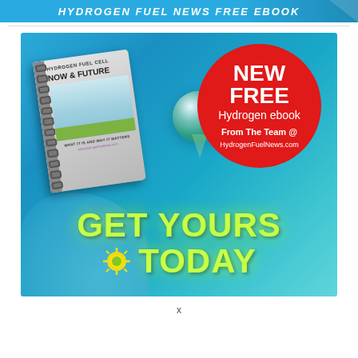HYDROGEN FUEL NEWS FREE EBOOK
[Figure (illustration): Promotional advertisement image for a free hydrogen fuel cell ebook titled 'Hydrogen Fuel Cell Now & Future'. Shows a spiral-bound book on the left, a large red circle badge on the right reading 'NEW FREE Hydrogen ebook From The Team @ HydrogenFuelNews.com', a glass water droplet in the center, and large yellow-green text reading 'GET YOURS TODAY' at the bottom, all on a blue aqua background.]